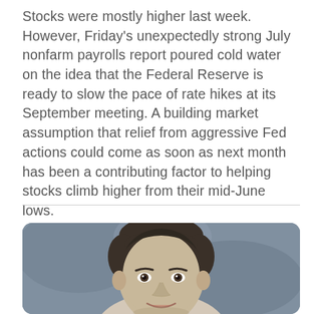Stocks were mostly higher last week. However, Friday's unexpectedly strong July nonfarm payrolls report poured cold water on the idea that the Federal Reserve is ready to slow the pace of rate hikes at its September meeting. A building market assumption that relief from aggressive Fed actions could come as soon as next month has been a contributing factor to helping stocks climb higher from their mid-June lows.
[Figure (photo): Headshot portrait of a middle-aged man with short dark hair, smiling slightly, against a mottled grey background.]